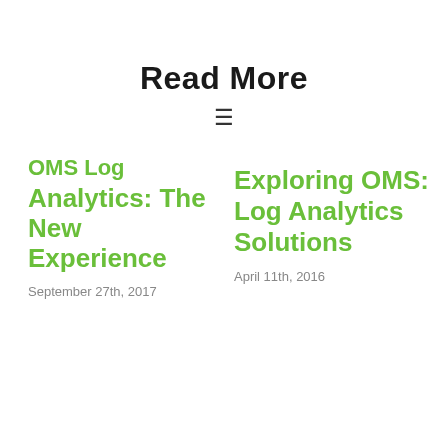Read More
OMS Log Analytics: The New Experience
September 27th, 2017
Exploring OMS: Log Analytics Solutions
April 11th, 2016